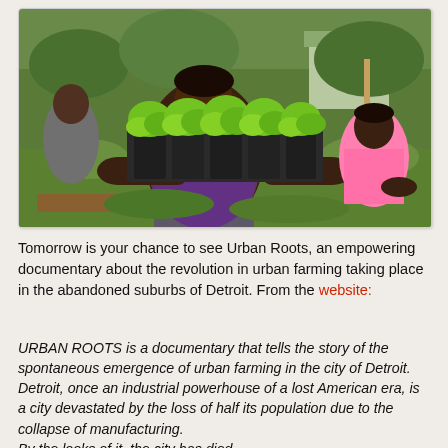[Figure (photo): A person holding up multiple small black plant pots with green lettuce seedlings in an urban garden setting. A child in a pink shirt is visible in the background tending to plants.]
Tomorrow is your chance to see Urban Roots, an empowering documentary about the revolution in urban farming taking place in the abandoned suburbs of Detroit. From the website:
URBAN ROOTS is a documentary that tells the story of the spontaneous emergence of urban farming in the city of Detroit. Detroit, once an industrial powerhouse of a lost American era, is a city devastated by the loss of half its population due to the collapse of manufacturing. By the looks of it, the city has died.